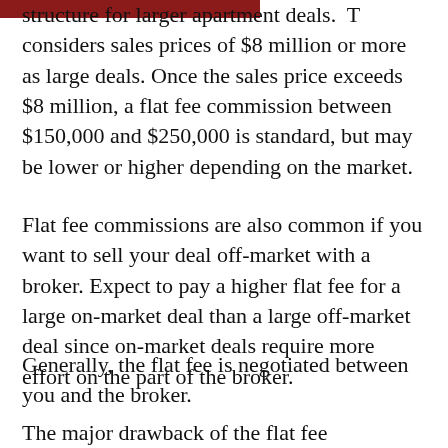structure for larger apartment deals. T considers sales prices of $8 million or more as large deals. Once the sales price exceeds $8 million, a flat fee commission between $150,000 and $250,000 is standard, but may be lower or higher depending on the market.
Flat fee commissions are also common if you want to sell your deal off-market with a broker. Expect to pay a higher flat fee for a large on-market deal than a large off-market deal since on-market deals require more effort on the part of the broker.
Generally, the flat fee is negotiated between you and the broker.
The major drawback of the flat fee